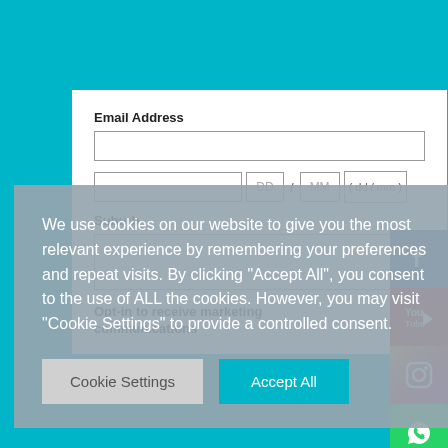Email Address
Suburb
Opt-in to receive marketing communications
We use cookies on our website to give you the most relevant experience by remembering your preferences and repeat visits. By clicking "Accept All", you consent to the use of ALL the cookies. However, you may visit "Cookie Settings" to provide a controlled consent.
Cookie Settings
Accept All